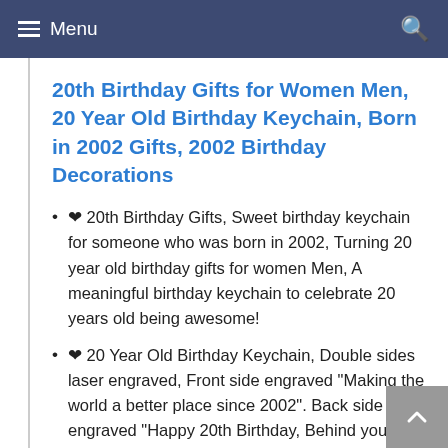Menu
20th Birthday Gifts for Women Men, 20 Year Old Birthday Keychain, Born in 2002 Gifts, 2002 Birthday Decorations
❤ 20th Birthday Gifts, Sweet birthday keychain for someone who was born in 2002, Turning 20 year old birthday gifts for women Men, A meaningful birthday keychain to celebrate 20 years old being awesome!
❤ 20 Year Old Birthday Keychain, Double sides laser engraved, Front side engraved "Making the world a better place since 2002". Back side engraved "Happy 20th Birthday, Behind you, all your memories. Before you. all your dreams. Around you, all who love you. Within you, all you need"